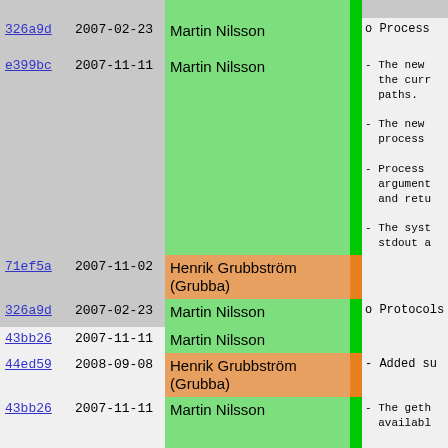| Hash | Date | Author | Bar | Text |
| --- | --- | --- | --- | --- |
| 326a9d | 2007-02-23 | Martin Nilsson |  | o Process |
| e399bc | 2007-11-11 | Martin Nilsson |  | - The new
  the curr
  paths.

- The new
  process

- Process
  argument
  and retu

- The syst
  stdout a |
| 71ef5a | 2007-11-02 | Henrik Grubbström (Grubba) |  |  |
| 326a9d | 2007-02-23 | Martin Nilsson |  | o Protocols |
| 43bb26 | 2007-11-11 | Martin Nilsson |  |  |
| 44ed59 | 2008-09-08 | Henrik Grubbström (Grubba) |  | - Added su |
| 43bb26 | 2007-11-11 | Martin Nilsson |  | - The geth
  availabl

- Fixed bu |